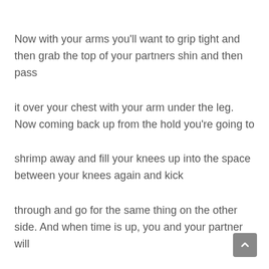Now with your arms you'll want to grip tight and then grab the top of your partners shin and then pass
it over your chest with your arm under the leg. Now coming back up from the hold you're going to
shrimp away and fill your knees up into the space between your knees again and kick
through and go for the same thing on the other side. And when time is up, you and your partner will
switch positions and go into that Achilles lock as well. With these two drill under your belt you'll have
the foundation you need to get better faster.